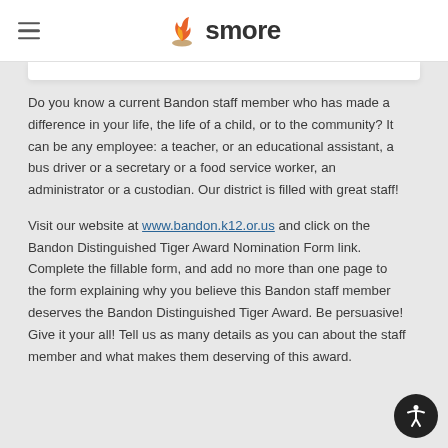smore
Do you know a current Bandon staff member who has made a difference in your life, the life of a child, or to the community? It can be any employee: a teacher, or an educational assistant, a bus driver or a secretary or a food service worker, an administrator or a custodian. Our district is filled with great staff!
Visit our website at www.bandon.k12.or.us and click on the Bandon Distinguished Tiger Award Nomination Form link. Complete the fillable form, and add no more than one page to the form explaining why you believe this Bandon staff member deserves the Bandon Distinguished Tiger Award. Be persuasive! Give it your all! Tell us as many details as you can about the staff member and what makes them deserving of this award.